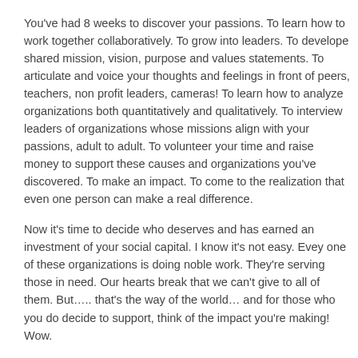You've had 8 weeks to discover your passions.  To learn how to work together collaboratively.  To grow into leaders.  To develope shared mission, vision, purpose and values statements.  To articulate and voice your thoughts and feelings in front of peers, teachers, non profit leaders, cameras! To learn how to analyze organizations both quantitatively and qualitatively.  To interview leaders of organizations whose missions align with your passions, adult to adult.  To volunteer your time and raise money to support these causes and organizations you've discovered.   To make an impact.  To come to the realization that even one person can make a real difference.
Now it's time to decide who deserves and has earned an investment of your social capital.  I know it's not easy.  Evey one of these organizations is doing noble work.  They're serving those in need.  Our hearts break that we can't give to all of them.  But….. that's the way of the world… and for those who you do decide to support, think of the impact you're making!  Wow.
See you tomorrow
Yale